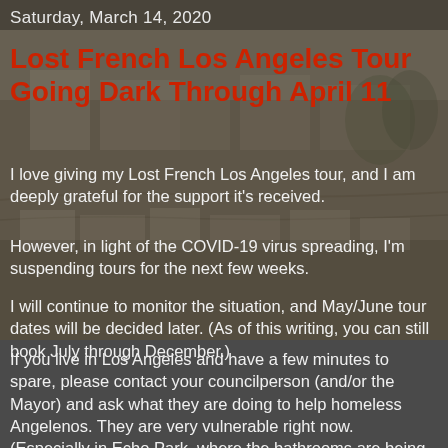[Figure (photo): Sepia-toned historical photograph of early Los Angeles showing buildings and landscape, used as background image]
Saturday, March 14, 2020
Lost French Los Angeles Tour Going Dark Through April 11
I love giving my Lost French Los Angeles tour, and I am deeply grateful for the support it's received.
However, in light of the COVID-19 virus spreading, I'm suspending tours for the next few weeks.
I will continue to monitor the situation, and May/June tour dates will be decided later. (As of this writing, you can still book July through December.)
If you live in Los Angeles and have a few minutes to spare, please contact your councilperson (and/or the Mayor) and ask what they are doing to help homeless Angelenos. They are very vulnerable right now. (Especially in Echo Park, where the bathrooms are being locked at night. Really.